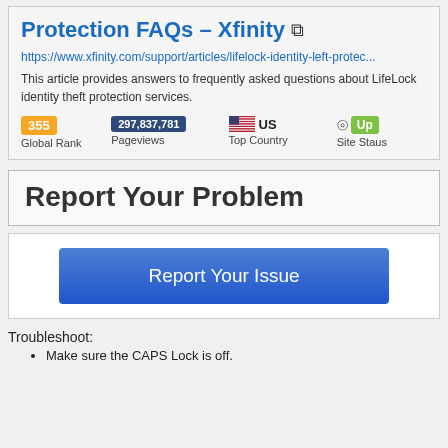Protection FAQs – Xfinity
https://www.xfinity.com/support/articles/lifelock-identity-left-protec...
This article provides answers to frequently asked questions about LifeLock identity theft protection services.
[Figure (infographic): Stats row showing: 355 (orange badge) Global Rank, 297,837,781 (dark badge) Pageviews, US flag US Top Country, circle Up (green badge) Site Staus]
Report Your Problem
[Figure (infographic): Blue gradient button labeled 'Report Your Issue']
Troubleshoot:
Make sure the CAPS Lock is off.